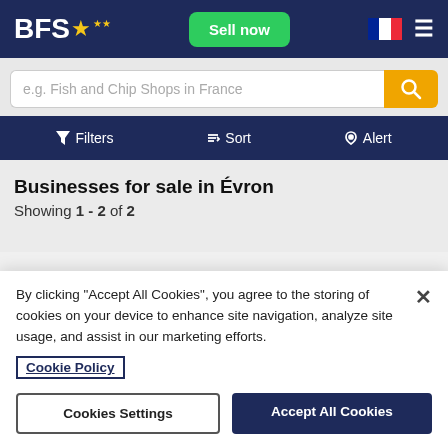BFS — Sell now — [French flag] — [Menu]
e.g. Fish and Chip Shops in France
Filters   Sort   Alert
Businesses for sale in Évron
Showing 1 - 2 of 2
By clicking "Accept All Cookies", you agree to the storing of cookies on your device to enhance site navigation, analyze site usage, and assist in our marketing efforts.
Cookie Policy
Cookies Settings
Accept All Cookies